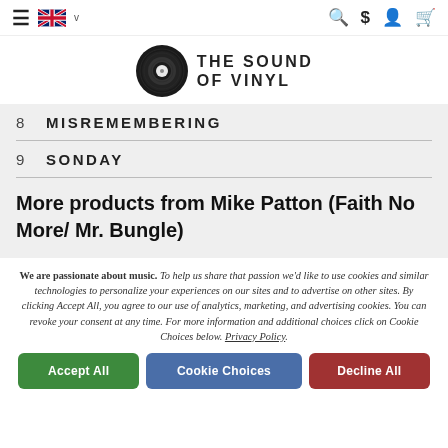Navigation bar with hamburger menu, UK flag, search, dollar, account, cart icons
[Figure (logo): The Sound of Vinyl logo: vinyl record disc icon with text THE SOUND OF VINYL]
8   MISREMEMBERING
9   SONDAY
More products from Mike Patton (Faith No More/ Mr. Bungle)
We are passionate about music. To help us share that passion we'd like to use cookies and similar technologies to personalize your experiences on our sites and to advertise on other sites. By clicking Accept All, you agree to our use of analytics, marketing, and advertising cookies. You can revoke your consent at any time. For more information and additional choices click on Cookie Choices below. Privacy Policy.